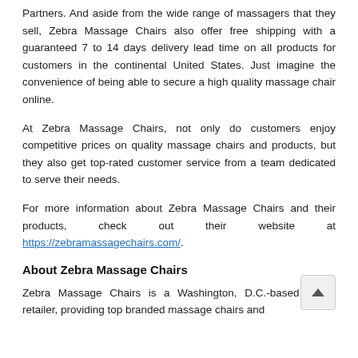Partners. And aside from the wide range of massagers that they sell, Zebra Massage Chairs also offer free shipping with a guaranteed 7 to 14 days delivery lead time on all products for customers in the continental United States. Just imagine the convenience of being able to secure a high quality massage chair online.
At Zebra Massage Chairs, not only do customers enjoy competitive prices on quality massage chairs and products, but they also get top-rated customer service from a team dedicated to serve their needs.
For more information about Zebra Massage Chairs and their products, check out their website at https://zebramassagechairs.com/.
About Zebra Massage Chairs
Zebra Massage Chairs is a Washington, D.C.-based online retailer, providing top branded massage chairs and